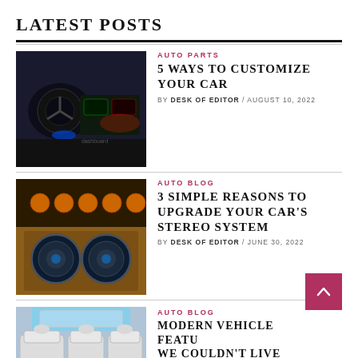LATEST POSTS
[Figure (photo): Car interior with glowing red/blue ambient lighting, steering wheel and dashboard visible]
AUTO PARTS
5 WAYS TO CUSTOMIZE YOUR CAR
BY DESK OF EDITOR / AUGUST 10, 2022
[Figure (photo): Car audio subwoofer system with large speakers in trunk, orange/gold trim with blue lighting]
AUTO BLOG
3 SIMPLE REASONS TO UPGRADE YOUR CAR'S STEREO SYSTEM
BY DESK OF EDITOR / JUNE 30, 2022
[Figure (photo): Modern vehicle interior showing luxury seats and sunroof]
AUTO BLOG
MODERN VEHICLE FEATURES WE COULDN'T LIVE WITHOUT
BY DESK OF EDITOR / JUNE 22, 2022